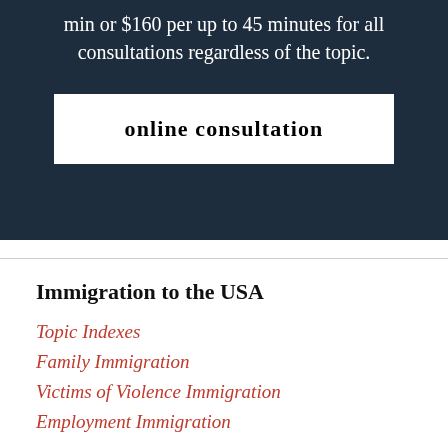min or $160 per up to 45 minutes for all consultations regardless of the topic.
online consultation
Immigration to the USA
Topic Indexes
Family Immigration
Victims of Violence Immigration
Employment Immigration